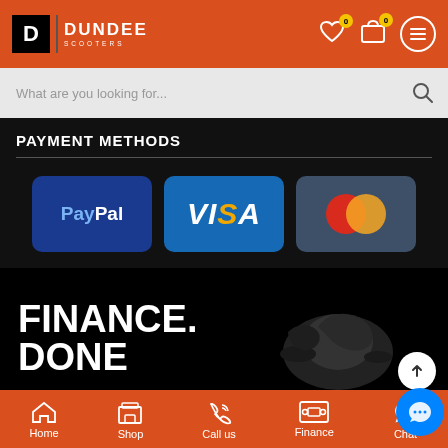DUNDEE SCOOTERS - header navigation with logo, wishlist, cart, and menu icons
What are you looking for...
PAYMENT METHODS
[Figure (logo): PayPal payment logo on dark blue rounded rectangle background]
[Figure (logo): VISA payment logo on blue rounded rectangle background]
[Figure (logo): Mastercard payment logo showing overlapping red and orange circles on dark blue-grey rounded rectangle background]
FINANCE. DONE
[Figure (photo): Black motorcycle/scooter on dark background]
Home | Shop | Call us | Finance | Chat